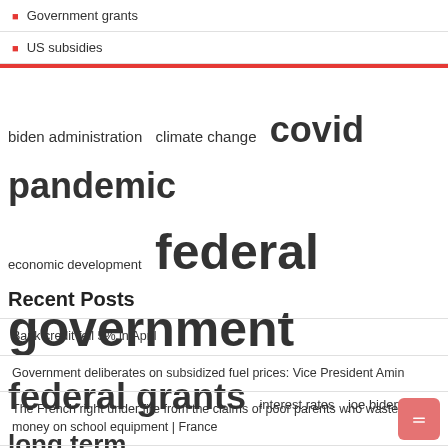Government grants
US subsidies
[Figure (infographic): Tag cloud with terms related to government and economy. Terms include: biden administration, climate change, covid pandemic, economic development, federal government, federal grants, interest rates, joe biden, long term, president joe, prime minister, short term, small businesses, united states, vice president. Font sizes vary by frequency.]
Recent Posts
Bank credit fell 5% in April
Government deliberates on subsidized fuel prices: Vice President Amin
The French right under fire from the claims of poor parents who waste money on school equipment | France
Letter: Charities need the same access to loans as small businesses